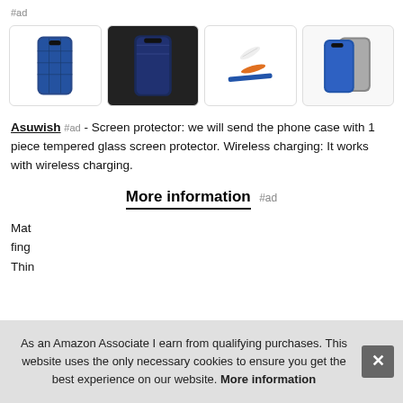#ad
[Figure (photo): Four product images of a phone case: blue textured case, dark stylized case on dark background, white feather and orange stripe accessories, and two cases in blue and gray]
Asuwish #ad - Screen protector: we will send the phone case with 1 piece tempered glass screen protector. Wireless charging: It works with wireless charging.
More information #ad
Mat
fing
Thin
As an Amazon Associate I earn from qualifying purchases. This website uses the only necessary cookies to ensure you get the best experience on our website. More information